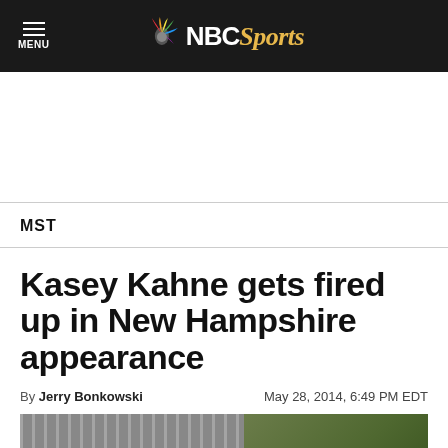MENU | NBC Sports
MST
Kasey Kahne gets fired up in New Hampshire appearance
By Jerry Bonkowski   May 28, 2014, 6:49 PM EDT
[Figure (photo): Bottom portion of a news article photo, partially visible at the bottom of the page]